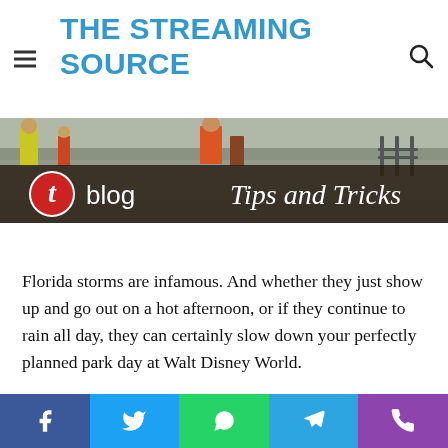THE STREAMING SOURCE
[Figure (photo): People walking on a wet rainy path in a theme park, viewed from behind, with a worker in yellow hi-vis vest visible. Below is a dark banner overlay with the Tubi 't' logo circle in red, 'blog' in white sans-serif, and 'Tips and Tricks' in white italic serif.]
Florida storms are infamous. And whether they just show up and go out on a hot afternoon, or if they continue to rain all day, they can certainly slow down your perfectly planned park day at Walt Disney World.
[Figure (infographic): Social sharing bar with five colored buttons: Facebook (blue), Twitter (light blue), WhatsApp (green), Telegram (blue), Phone/Viber (purple). Each has its respective icon in white.]